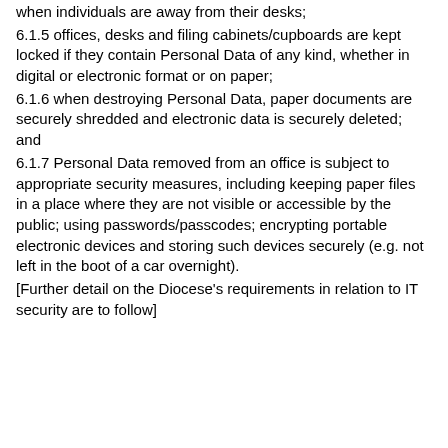when individuals are away from their desks;
6.1.5 offices, desks and filing cabinets/cupboards are kept locked if they contain Personal Data of any kind, whether in digital or electronic format or on paper;
6.1.6 when destroying Personal Data, paper documents are securely shredded and electronic data is securely deleted; and
6.1.7 Personal Data removed from an office is subject to appropriate security measures, including keeping paper files in a place where they are not visible or accessible by the public; using passwords/passcodes; encrypting portable electronic devices and storing such devices securely (e.g. not left in the boot of a car overnight).
[Further detail on the Diocese's requirements in relation to IT security are to follow]